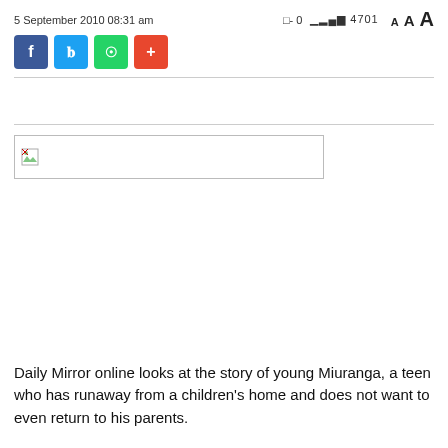5 September 2010 08:31 am  □-0  .|.||- 4701  A A A
[Figure (screenshot): Social sharing buttons: Facebook (blue), Twitter (light blue), WhatsApp (green), Plus (red-orange)]
[Figure (photo): Broken image placeholder with small icon, wide rectangular border]
Daily Mirror online looks at the story of young Miuranga, a teen who has runaway from a children's home and does not want to even return to his parents.